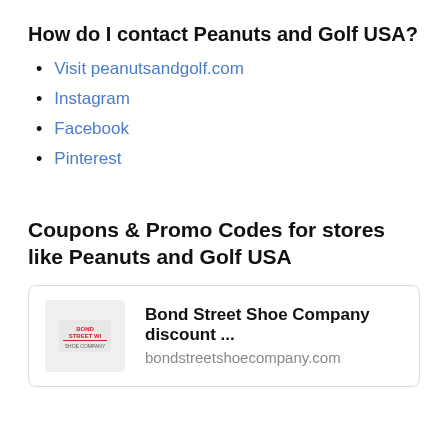How do I contact Peanuts and Golf USA?
Visit peanutsandgolf.com
Instagram
Facebook
Pinterest
Coupons & Promo Codes for stores like Peanuts and Golf USA
Bond Street Shoe Company discount ...
bondstreetshoecompany.com